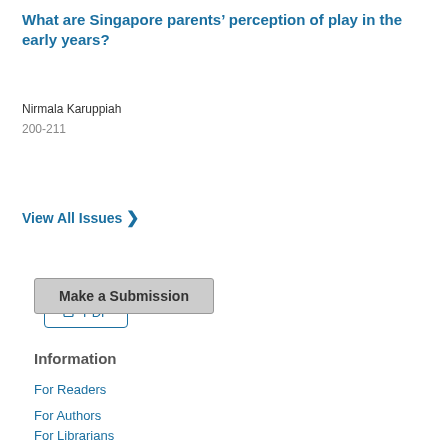What are Singapore parents’ perception of play in the early years?
Nirmala Karuppiah
200-211
PDF
View All Issues
Make a Submission
Information
For Readers
For Authors
For Librarians